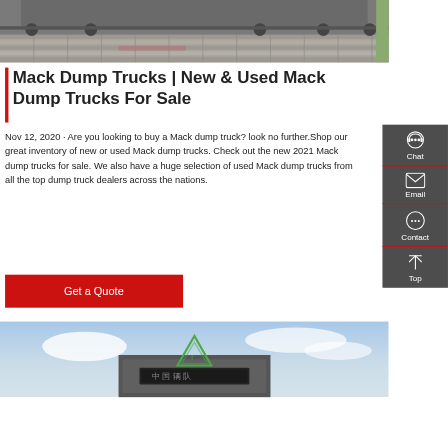[Figure (photo): Top portion of a Mack dump truck on a cobblestone/paved surface, partial view of truck undercarriage and road]
Mack Dump Trucks | New & Used Mack Dump Trucks For Sale
Nov 12, 2020 · Are you looking to buy a Mack dump truck? look no further.Shop our great inventory of new or used Mack dump trucks. Check out the new 2021 Mack dump trucks for sale. We also have a huge selection of used Mack dump trucks from all the top dump truck dealers across the nations.
Get a Quote
[Figure (screenshot): Sidebar panel with chat, email, contact, and top navigation icons on dark grey background]
[Figure (photo): Bottom photo showing the rear of a dump truck with a green triangle warning sign on top, against a blue sky background]